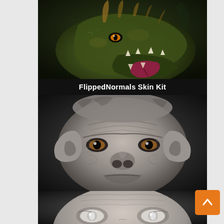[Figure (illustration): Close-up CGI render of a dragon head with green-gold scaly skin, orange eyes, open mouth with fangs and a long red tongue, brown horn-like protrusions, dark background]
FlippedNormals Skin Kit
[Figure (illustration): Grayscale 3D sculpt/render of an aged ape/primate face with detailed skin wrinkles, amber/brown eyes, close-up frontal view against dark background]
[Figure (illustration): Grayscale 3D sculpt/render of an aged human face, partial view showing eyes and upper face with detailed wrinkled skin, light-colored eyes, close-up view]